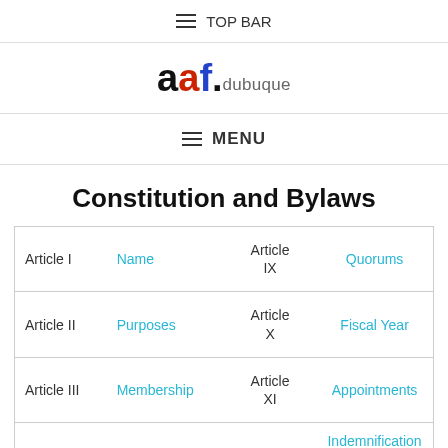☰ TOP BAR
[Figure (logo): AAF Dubuque logo — stylized 'aaf' in bold with colored letters, followed by '.dubuque' in grey]
☰ MENU
Constitution and Bylaws
| Article I | Name | Article IX | Quorums |
| Article II | Purposes | Article X | Fiscal Year |
| Article III | Membership | Article XI | Appointments |
|  |  |  | Indemnification of |